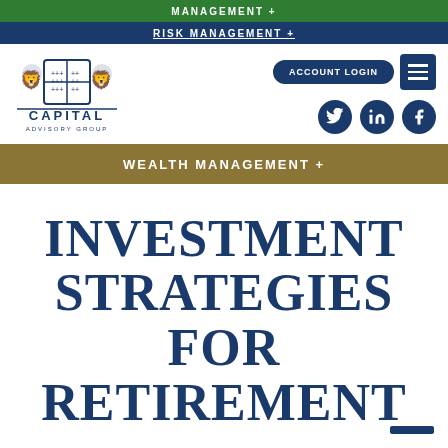MANAGEMENT +
RISK MANAGEMENT +
[Figure (logo): Capital Advisory Group logo with two lions flanking a shield, text CAPITAL ADVISORY GROUP below]
ACCOUNT LOGIN
Social media icons: Twitter, LinkedIn, Facebook
WEALTH MANAGEMENT +
INVESTMENT STRATEGIES FOR RETIREMENT